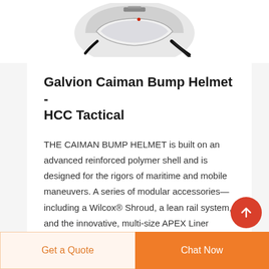[Figure (photo): Partial view of a Galvion Caiman Bump Helmet shown from above/front, white and black, with visor and straps visible]
Galvion Caiman Bump Helmet - HCC Tactical
THE CAIMAN BUMP HELMET is built on an advanced reinforced polymer shell and is designed for the rigors of maritime and mobile maneuvers. A series of modular accessories—including a Wilcox® Shroud, a lean rail system, and the innovative, multi-size APEX Liner System—enhance this helmet suite, ensuring
Get a Quote
Chat Now